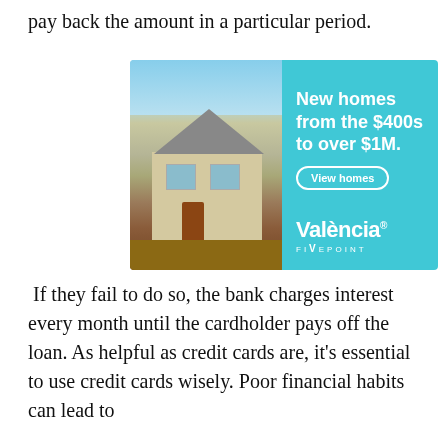pay back the amount in a particular period.
[Figure (infographic): Advertisement for Valencia FivePoint new homes. Left half shows a photo of a modern two-story house with beige siding against a blue sky. Right half has a teal/cyan background with white text reading 'New homes from the $400s to over $1M.' and a 'View homes' button, plus the Valencia FivePoint logo at bottom.]
If they fail to do so, the bank charges interest every month until the cardholder pays off the loan. As helpful as credit cards are, it's essential to use credit cards wisely. Poor financial habits can lead to